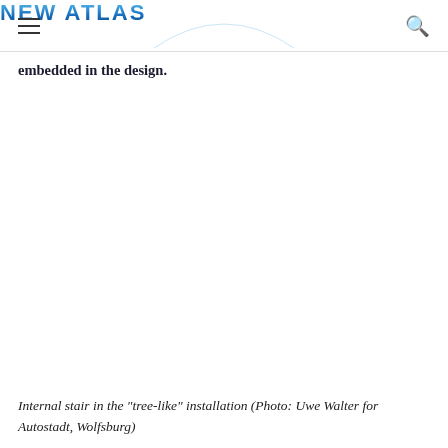NEW ATLAS
embedded in the design.
[Figure (photo): Internal stair in the tree-like installation at Autostadt, Wolfsburg (image area appears white/blank in this cropped view)]
Internal stair in the "tree-like" installation (Photo: Uwe Walter for Autostadt, Wolfsburg)